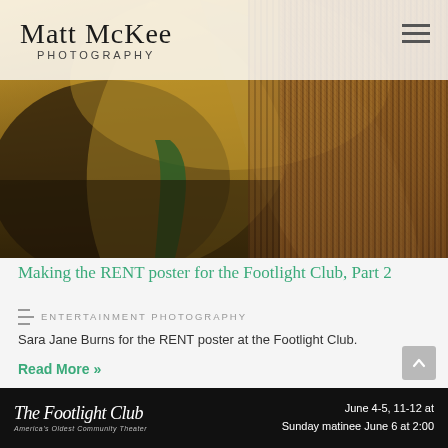Matt McKee PHOTOGRAPHY
[Figure (photo): Fashion/artistic photo of Sara Jane Burns in golden and earthy tones, dramatic lighting, for the RENT poster at the Footlight Club]
Making the RENT poster for the Footlight Club, Part 2
ENTERTAINMENT PHOTOGRAPHY
Sara Jane Burns for the RENT poster at the Footlight Club.
Read More »
The Footlight Club America's Oldest Community Theater   June 4-5, 11-12 at   Sunday matinee June 6 at 2:00